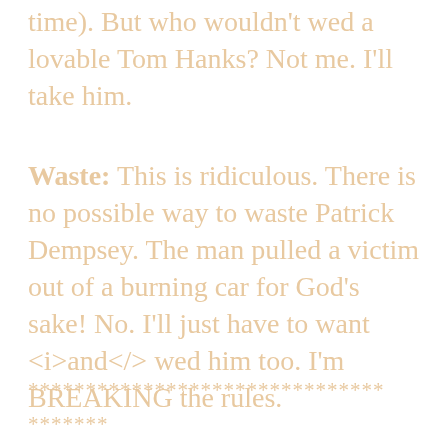time). But who wouldn't wed a lovable Tom Hanks? Not me. I'll take him.
Waste: This is ridiculous. There is no possible way to waste Patrick Dempsey. The man pulled a victim out of a burning car for God's sake! No. I'll just have to want <i>and</> wed him too. I'm BREAKING the rules.
*******************************
*******